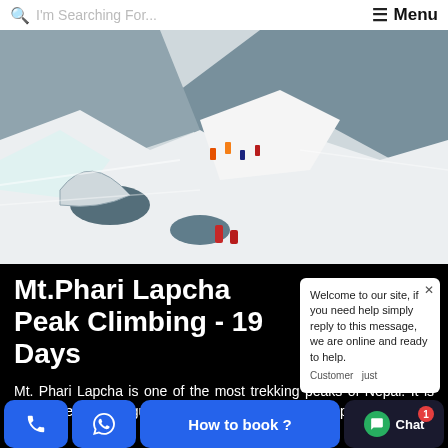I'm Searching For... Menu
[Figure (photo): Mountain climbers navigating a steep snow and rock ridge in the Himalayas, with icy cliffs and glaciers surrounding them.]
Mt.Phari Lapcha Peak Climbing - 19 Days
Mt. Phari Lapcha is one of the most trekking peaks of Nepal. It is lies in the Mahalangur Himal range, south west of popular